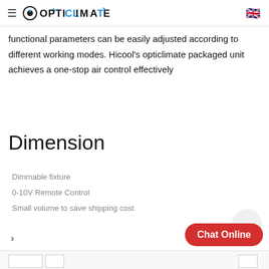OPTICLIMATE
functional parameters can be easily adjusted according to different working modes. Hicool's opticlimate packaged unit achieves a one-stop air control effectively
Dimension
Dimmable fixture
0-10V Remote Control
Small volume to save shipping cost